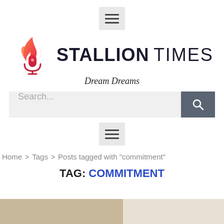[Figure (screenshot): Hamburger menu button (three horizontal lines) on light gray background, centered at top of page]
[Figure (logo): Stallion Times logo: flame and microphone SVG icon in red/orange gradient, followed by bold STALLION and light TIMES text, with italic tagline 'Dream Dreams' below]
[Figure (screenshot): Search bar with gray input field showing placeholder 'Search...' and dark gray search button with magnifying glass icon]
[Figure (screenshot): Second hamburger menu button (three horizontal lines) on light gray background, centered]
Home > Tags > Posts tagged with "commitment"
TAG: COMMITMENT
[Figure (photo): Partial bottom strip showing a tan/beige background — bottom edge of a webpage with photo content beginning to appear]